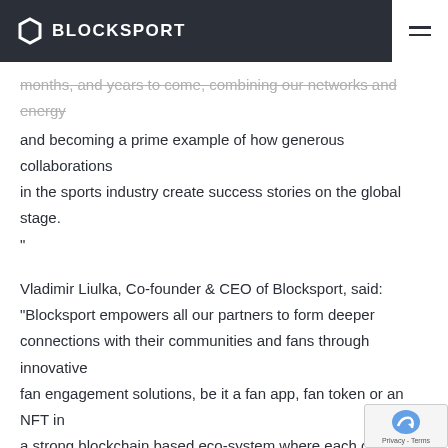BLOCKSPORT
months, and years to come, combining our networks and energy and becoming a prime example of how generous collaborations in the sports industry create success stories on the global stage. "
Vladimir Liulka, Co-founder & CEO of Blocksport, said: "Blocksport empowers all our partners to form deeper connections with their communities and fans through innovative fan engagement solutions, be it a fan app, fan token or an NFT in a strong blockchain based eco-system where each club, federation or league can ensure that their fan base is well looked after and there are no risks of fans being compromised. Blocksport cares a lot about its own reputation as well as the reputation of its partners, be it clubs or strategic partners.